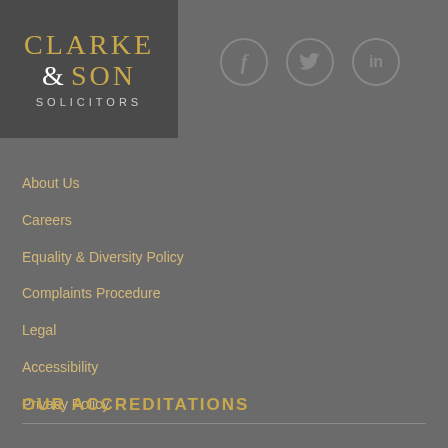[Figure (logo): Clarke & Son Solicitors logo on dark grey background]
[Figure (other): Social media icons: Facebook (f), Twitter (bird), LinkedIn (in) as circles]
About Us
Careers
Equality & Diversity Policy
Complaints Procedure
Legal
Accessibility
Privacy Policy
OUR ACCREDITATIONS